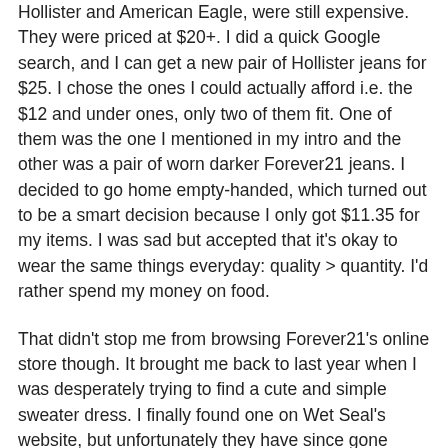Hollister and American Eagle, were still expensive. They were priced at $20+. I did a quick Google search, and I can get a new pair of Hollister jeans for $25. I chose the ones I could actually afford i.e. the $12 and under ones, only two of them fit. One of them was the one I mentioned in my intro and the other was a pair of worn darker Forever21 jeans. I decided to go home empty-handed, which turned out to be a smart decision because I only got $11.35 for my items. I was sad but accepted that it's okay to wear the same things everyday: quality > quantity. I'd rather spend my money on food.
That didn't stop me from browsing Forever21's online store though. It brought me back to last year when I was desperately trying to find a cute and simple sweater dress. I finally found one on Wet Seal's website, but unfortunately they have since gone bankrupt. A lot of their clothes may have been trashy, but I liked them because their clothes actually fit me. I also got two outfits from Forever21 around the same time, but I actually had a full-time job back then so I didn't have to restrict myself to the sale/clearance section. Nothing really stood out to me from the sale section today